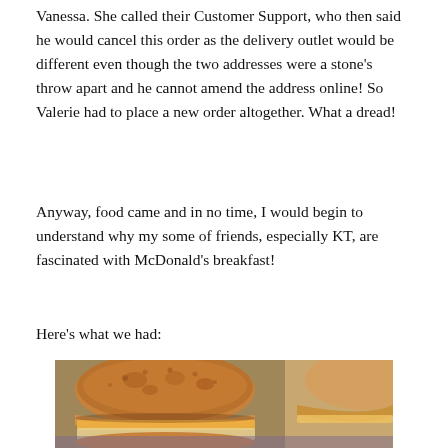Vanessa. She called their Customer Support, who then said he would cancel this order as the delivery outlet would be different even though the two addresses were a stone's throw apart and he cannot amend the address online! So Valerie had to place a new order altogether. What a dread!
Anyway, food came and in no time, I would begin to understand why my some of friends, especially KT, are fascinated with McDonald's breakfast!
Here's what we had:
[Figure (photo): Close-up photo of McDonald's breakfast sandwich (Egg McMuffin style) showing toasted English muffin with egg and cheese filling, with another sandwich visible in the background.]